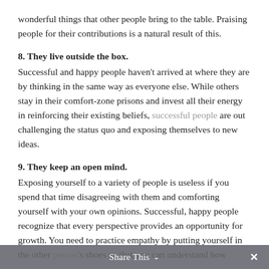wonderful things that other people bring to the table. Praising people for their contributions is a natural result of this.
8. They live outside the box.
Successful and happy people haven't arrived at where they are by thinking in the same way as everyone else. While others stay in their comfort-zone prisons and invest all their energy in reinforcing their existing beliefs, successful people are out challenging the status quo and exposing themselves to new ideas.
9. They keep an open mind.
Exposing yourself to a variety of people is useless if you spend that time disagreeing with them and comforting yourself with your own opinions. Successful, happy people recognize that every perspective provides an opportunity for growth. You need to practice empathy by putting yourself in the other person's shoes so that you can understand how